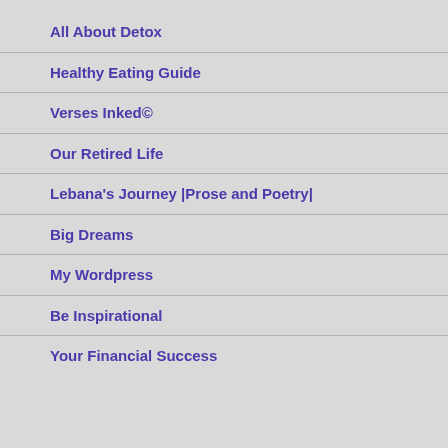All About Detox
Healthy Eating Guide
Verses Inked©
Our Retired Life
Lebana's Journey |Prose and Poetry|
Big Dreams
My Wordpress
Be Inspirational
Your Financial Success